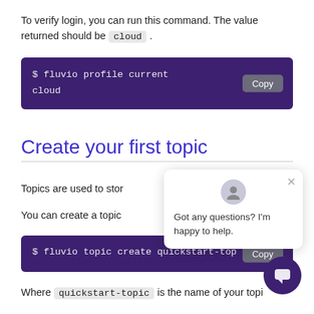To verify login, you can run this command. The value returned should be cloud .
$ fluvio profile current
cloud
Create your first topic
Topics are used to stor
You can create a topic
$ fluvio topic create quickstart-top
Where quickstart-topic is the name of your topi